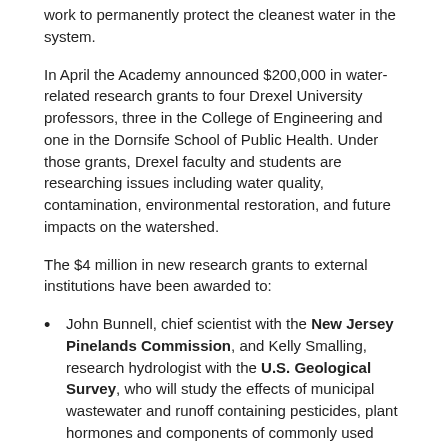work to permanently protect the cleanest water in the system.
In April the Academy announced $200,000 in water-related research grants to four Drexel University professors, three in the College of Engineering and one in the Dornsife School of Public Health. Under those grants, Drexel faculty and students are researching issues including water quality, contamination, environmental restoration, and future impacts on the watershed.
The $4 million in new research grants to external institutions have been awarded to:
John Bunnell, chief scientist with the New Jersey Pinelands Commission, and Kelly Smalling, research hydrologist with the U.S. Geological Survey, who will study the effects of municipal wastewater and runoff containing pesticides, plant hormones and components of commonly used products on the development of fish and frogs.
Thomas Fikslin, director of science and water quality management, and Namsoo Suk, manager of water resource modeling, both with the Delaware River Basin Commission, who will create a scientific model that will provide a basis for regulation agencies to establish water quality criteria for